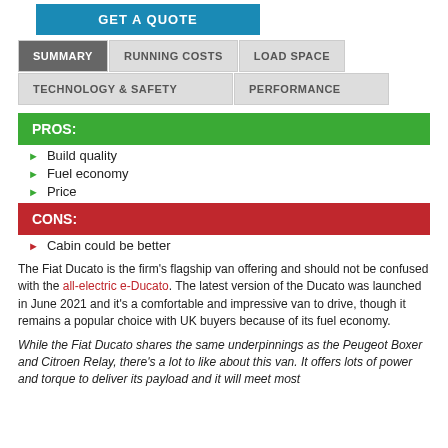GET A QUOTE
SUMMARY | RUNNING COSTS | LOAD SPACE
TECHNOLOGY & SAFETY | PERFORMANCE
PROS:
Build quality
Fuel economy
Price
CONS:
Cabin could be better
The Fiat Ducato is the firm's flagship van offering and should not be confused with the all-electric e-Ducato. The latest version of the Ducato was launched in June 2021 and it's a comfortable and impressive van to drive, though it remains a popular choice with UK buyers because of its fuel economy.
While the Fiat Ducato shares the same underpinnings as the Peugeot Boxer and Citroen Relay, there's a lot to like about this van. It offers lots of power and torque to deliver its payload and it will meet most